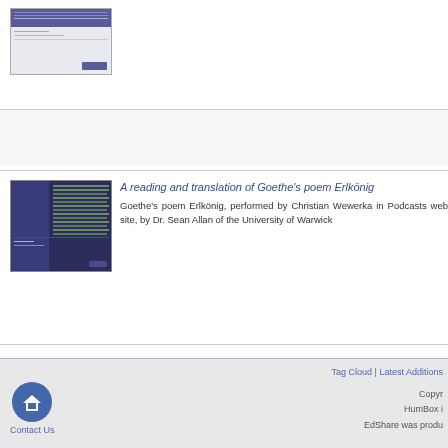[Figure (screenshot): Thumbnail screenshot of a web page with purple/blue header]
[Figure (screenshot): Thumbnail screenshot of a web page with dark blue background and text columns about Erlkönig poem]
A reading and translation of Goethe's poem Erlkönig
Goethe's poem Erlkönig, performed by Christian Wewerka in Podcasts web site, by Dr. Sean Allan of the University of Warwick
Tag Cloud | Latest Additions
Copyright
HumBox i
EdShare was produ
Contact Us